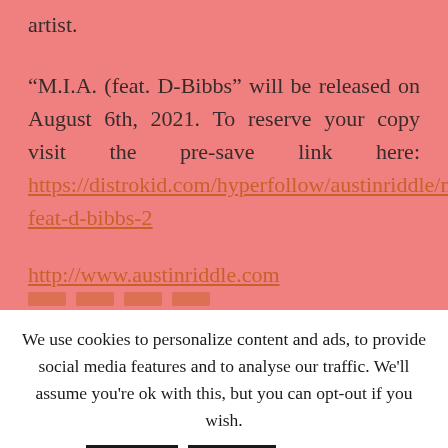artist.
“M.I.A. (feat. D-Bibbs” will be released on August 6th, 2021. To reserve your copy visit the pre-save link here: https://distrokid.com/hyperfollow/austinriddle/mia-feat-d-bibbs-2
http://www.austinriddle.com
We use cookies to personalize content and ads, to provide social media features and to analyse our traffic. We'll assume you're ok with this, but you can opt-out if you wish. Accept Reject Read More